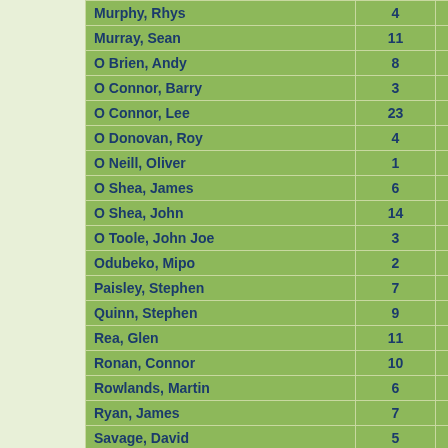|  |  |  |
| --- | --- | --- |
| Murphy, Rhys | 4 | 0 |
| Murray, Sean | 11 | 0 |
| O Brien, Andy | 8 | 0 |
| O Connor, Barry | 3 | 1 |
| O Connor, Lee | 23 | 1 |
| O Donovan, Roy | 4 | 6 |
| O Neill, Oliver | 1 | 3 |
| O Shea, James | 6 | 1 |
| O Shea, John | 14 | 0 |
| O Toole, John Joe | 3 | 2 |
| Odubeko, Mipo | 2 | 1 |
| Paisley, Stephen | 7 | 1 |
| Quinn, Stephen | 9 | 0 |
| Rea, Glen | 11 | 0 |
| Ronan, Connor | 10 | 4 |
| Rowlands, Martin | 6 | 2 |
| Ryan, James | 7 | 1 |
| Savage, David | 5 | 0 |
| Sheehan, Alan | 4 | 1 |
| Shodipo, Olamide | 4 | 2 |
| Spillane, Michael | 8 | 0 |
| Tabb, Jay | 7 | 4 |
| Treacy, Keith | 7 | 2 |
| Watkins, Clarke, Mason | 3 | 1 |